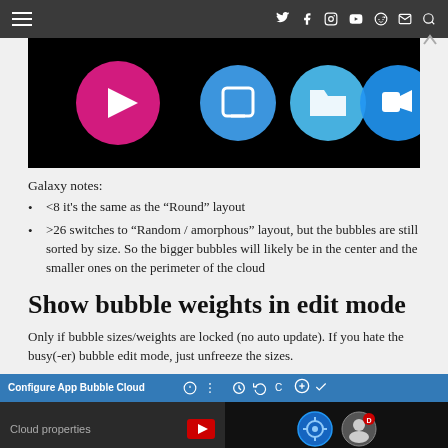Navigation menu and social icons header
[Figure (screenshot): App icons on black background: pink circle, blue rounded square, blue folder circle, blue video camera circle]
Galaxy notes:
<8 it's the same as the “Round” layout
>26 switches to “Random / amorphous” layout, but the bubbles are still sorted by size. So the bigger bubbles will likely be in the center and the smaller ones on the perimeter of the cloud
Show bubble weights in edit mode
Only if bubble sizes/weights are locked (no auto update). If you hate the busy(-er) bubble edit mode, just unfreeze the sizes.
[Figure (screenshot): Two screenshots: left shows Configure App Bubble Cloud dialog with Cloud properties and YouTube button; right shows edit mode toolbar with icons and bubble icons on dark background]